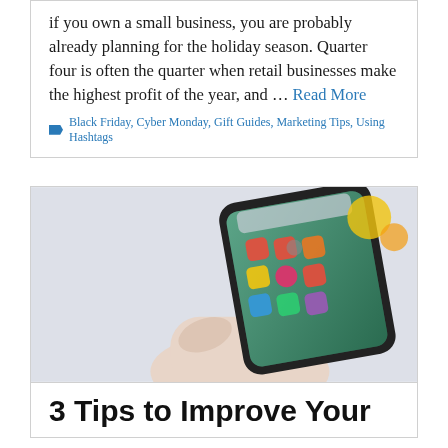if you own a small business, you are probably already planning for the holiday season. Quarter four is often the quarter when retail businesses make the highest profit of the year, and … Read More
Black Friday, Cyber Monday, Gift Guides, Marketing Tips, Using Hashtags
[Figure (photo): A hand holding a smartphone displaying colorful app icons on the home screen, against a light grey/white background.]
3 Tips to Improve Your